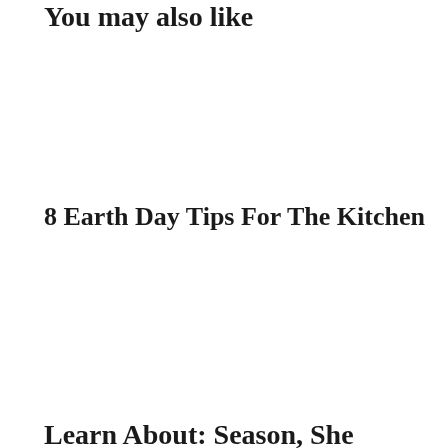You may also like
8 Earth Day Tips For The Kitchen
Learn About: Season, She...